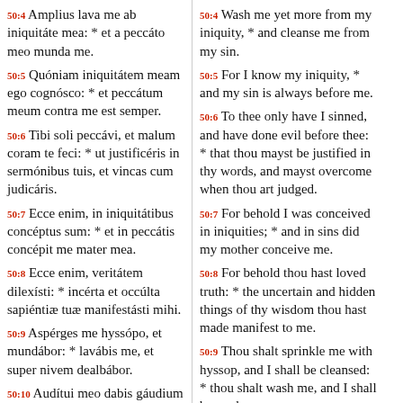50:4 Amplius lava me ab iniquitáte mea: * et a peccáto meo munda me.
50:5 Quóniam iniquitátem meam ego cognósco: * et peccátum meum contra me est semper.
50:6 Tibi soli peccávi, et malum coram te feci: * ut justificéris in sermónibus tuis, et vincas cum judicáris.
50:7 Ecce enim, in iniquitátibus concéptus sum: * et in peccátis concépit me mater mea.
50:8 Ecce enim, veritátem dilexísti: * incérta et occúlta sapiéntiæ tuæ manifestásti mihi.
50:9 Aspérges me hyssópo, et mundábor: * lavábis me, et super nivem dealbábor.
50:10 Audítui meo dabis gáudium et lætítiam: * et exsultábunt ossa humiliáta.
50:4 Wash me yet more from my iniquity, * and cleanse me from my sin.
50:5 For I know my iniquity, * and my sin is always before me.
50:6 To thee only have I sinned, and have done evil before thee: * that thou mayst be justified in thy words, and mayst overcome when thou art judged.
50:7 For behold I was conceived in iniquities; * and in sins did my mother conceive me.
50:8 For behold thou hast loved truth: * the uncertain and hidden things of thy wisdom thou hast made manifest to me.
50:9 Thou shalt sprinkle me with hyssop, and I shall be cleansed: * thou shalt wash me, and I shall be made